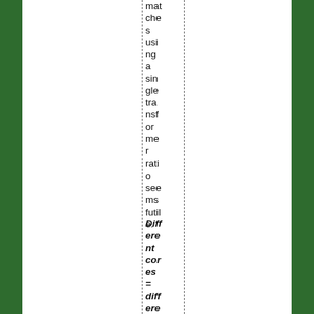matches using a single transformer ratio seems futile.
Different cores = different